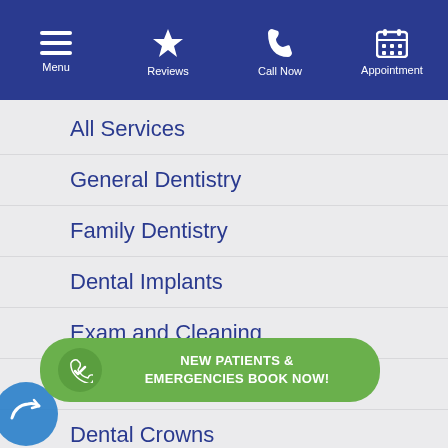[Figure (screenshot): Top navigation bar with Menu, Reviews, Call Now, and Appointment icons on a dark blue background]
All Services
General Dentistry
Family Dentistry
Dental Implants
Exam and Cleaning
Cosmetic Dentistry
Dental Crowns
NEW PATIENTS & EMERGENCIES BOOK NOW!
Teeth Whitening